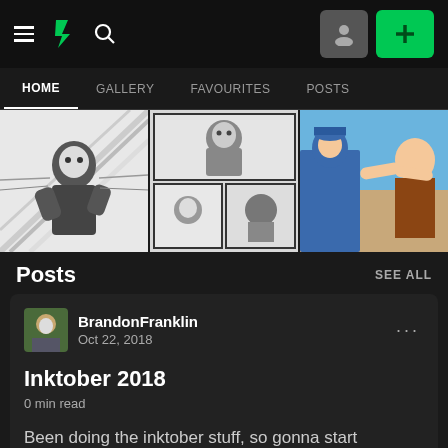DeviantArt navigation bar with hamburger menu, DA logo, search icon, profile button, and add (+) button
HOME | GALLERY | FAVOURITES | POSTS
[Figure (illustration): Three manga/comic artwork thumbnails in a gallery row]
Posts
SEE ALL
BrandonFranklin
Oct 22, 2018
Inktober 2018
0 min read
Been doing the inktober stuff, so gonna start uploading some of it here. Trying to start addind